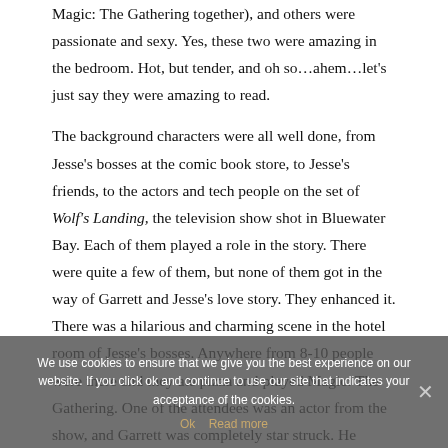Magic: The Gathering together), and others were passionate and sexy. Yes, these two were amazing in the bedroom. Hot, but tender, and oh so…ahem…let's just say they were amazing to read.

The background characters were all well done, from Jesse's bosses at the comic book store, to Jesse's friends, to the actors and tech people on the set of Wolf's Landing, the television show shot in Bluewater Bay. Each of them played a role in the story. There were quite a few of them, but none of them got in the way of Garrett and Jesse's love story. They enhanced it. There was a hilarious and charming scene in the hotel room of Jesse's bosses. Anywhere from 8-10 people were there and they ate pizza and played Magic: The Gathering. One of the attendees was an actor from the show, and Garrett was completely star struck. He couldn't believe he was in the room
We use cookies to ensure that we give you the best experience on our website. If you click ok and continue to use our site that indicates your acceptance of the cookies.